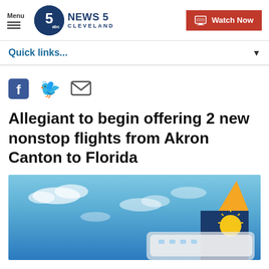Menu | NEWS 5 CLEVELAND | Watch Now
Quick links...
[Figure (other): Social sharing icons: Facebook, Twitter, Email]
Allegiant to begin offering 2 new nonstop flights from Akron Canton to Florida
[Figure (photo): Photo of airplane tail with Allegiant Sun logo against blue sky with clouds]